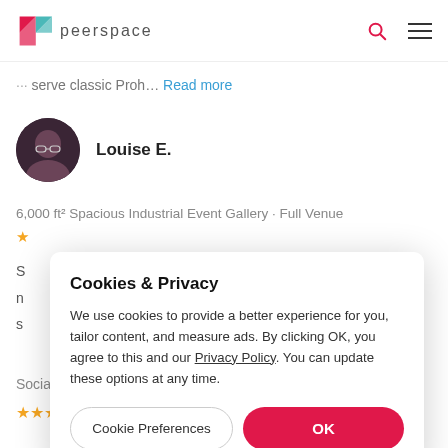peerspace
serve classic Proh... Read more
Louise E.
6,000 ft² Spacious Industrial Event Gallery · Full Venue
Cookies & Privacy
We use cookies to provide a better experience for you, tailor content, and measure ads. By clicking OK, you agree to this and our Privacy Policy. You can update these options at any time.
Cookie Preferences
OK
Social Event Space